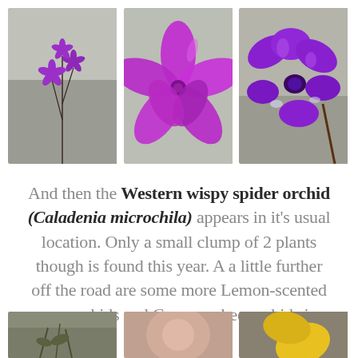[Figure (photo): Three photos of purple spider orchid flowers (Caladenia microchila) side by side. Left: slender plant with small purple star-shaped flowers on thin dark stems against rocky background. Center: close-up of a magenta/purple spider orchid bloom with reflexed petals. Right: close-up of bright purple orchid flower with wide petals against rocky background.]
And then the Western wispy spider orchid (Caladenia microchila) appears in it's usual location. Only a small clump of 2 plants though is found this year. A a little further off the road are some more Lemon-scented sun orchids and Common bee orchids in flower.
[Figure (photo): Three partial photos at bottom: left shows a plant with thin stems and small leaves, center shows a blurred close-up, right shows what appears to be a yellow flower.]